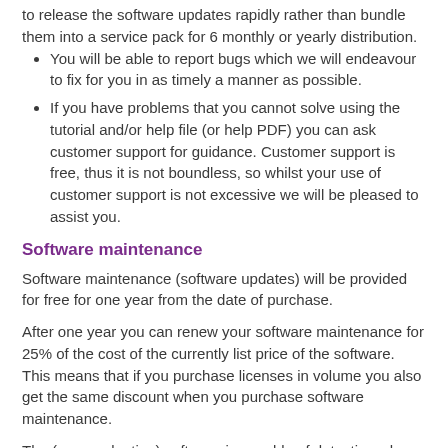to release the software updates rapidly rather than bundle them into a service pack for 6 monthly or yearly distribution.
You will be able to report bugs which we will endeavour to fix for you in as timely a manner as possible.
If you have problems that you cannot solve using the tutorial and/or help file (or help PDF) you can ask customer support for guidance. Customer support is free, thus it is not boundless, so whilst your use of customer support is not excessive we will be pleased to assist you.
Software maintenance
Software maintenance (software updates) will be provided for free for one year from the date of purchase.
After one year you can renew your software maintenance for 25% of the cost of the currently list price of the software. This means that if you purchase licenses in volume you also get the same discount when you purchase software maintenance.
The (non-evaluation) software is capable of detecting when